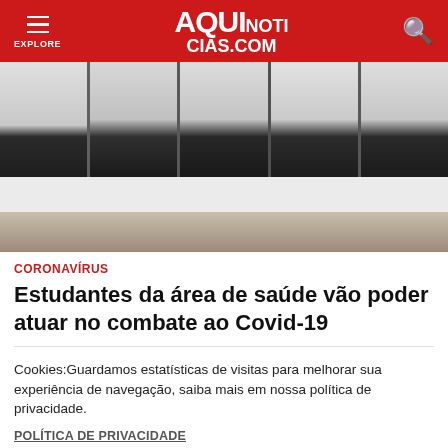AQUINOTICIAS.COM
[Figure (photo): Group of people in white lab coats (healthcare students) standing, lower bodies visible, on a tiled floor.]
CORONAVÍRUS
Estudantes da área de saúde vão poder atuar no combate ao Covid-19
Cookies:Guardamos estatísticas de visitas para melhorar sua experiência de navegação, saiba mais em nossa política de privacidade.
POLÍTICA DE PRIVACIDADE
ENTENDI E FECHAR